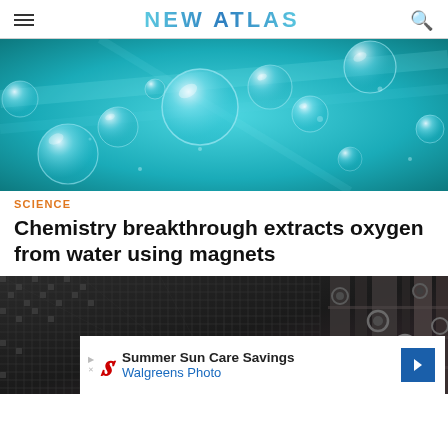NEW ATLAS
[Figure (photo): Close-up of silver water droplets/bubbles on a teal/cyan blue water surface background]
SCIENCE
Chemistry breakthrough extracts oxygen from water using magnets
[Figure (photo): Macro close-up of carbon fiber weave or nanomaterial grid texture in dark gray/black, with blurred mechanical components at right]
Summer Sun Care Savings Walgreens Photo